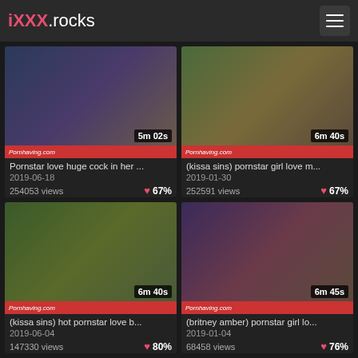iXXX.rocks
[Figure (screenshot): Video thumbnail 1 - duration 5m 02s]
Pornstar love huge cock in her ...
2019-06-18
254053 views  67%
[Figure (screenshot): Video thumbnail 2 - duration 6m 40s]
(kissa sins) pornstar girl love m...
2019-01-30
252591 views  67%
[Figure (screenshot): Video thumbnail 3 - duration 6m 40s]
(kissa sins) hot pornstar love b...
2019-06-04
147330 views  80%
[Figure (screenshot): Video thumbnail 4 - duration 6m 45s]
(britney amber) pornstar girl lo...
2019-01-04
68458 views  76%